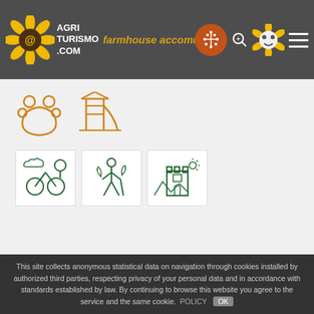AGRITURISMO.COM - farmhouse accommodation with
[Figure (screenshot): Amenities icon section showing pet-friendly (paw print) and playground icons in orange, and three activity icons in green on white boxes: cycling/nature, outdoor activities, and sightseeing.]
B&B Alpe Rebelle
VALLE D'AOSTA - Aosta - Bionaz - by the mountain
[Figure (infographic): Heart icon (favorite) and map pin icon in golden/yellow color.]
This site collects anonymous statistical data on navigation through cookies installed by authorized third parties, respecting privacy of your personal data and in accordance with standards established by law. By continuing to browse this website you agree to the service and the same cookie. POLICY OK